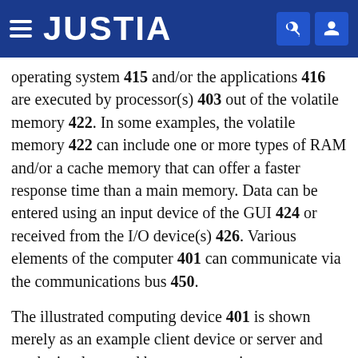JUSTIA
operating system 415 and/or the applications 416 are executed by processor(s) 403 out of the volatile memory 422. In some examples, the volatile memory 422 can include one or more types of RAM and/or a cache memory that can offer a faster response time than a main memory. Data can be entered using an input device of the GUI 424 or received from the I/O device(s) 426. Various elements of the computer 401 can communicate via the communications bus 450.
The illustrated computing device 401 is shown merely as an example client device or server and can be implemented by any computing or processing environment with any type of machine or set of machines that can have suitable hardware and/or software capable of operating as described herein.
The processor(s) 403 can be implemented by one or